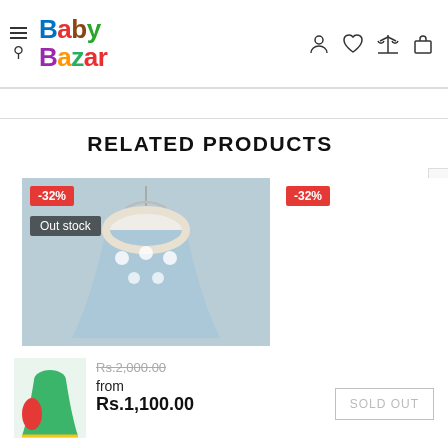Baby Bazar - navigation header with logo, hamburger/search, and icons (user, wishlist, compare, cart)
RELATED PRODUCTS
[Figure (photo): Product image: baby dress on hanger, light blue, with white floral embellishments. Red badge showing -32% discount. Dark 'Out stock' label overlay.]
[Figure (photo): Second product placeholder area with red -32% badge, mostly white/empty.]
[Figure (photo): Small thumbnail of green baby dress with red accent.]
Rs.2,000.00
from
Rs.1,100.00
SOLD OUT